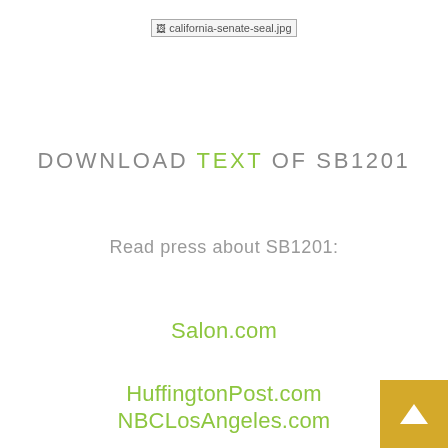[Figure (logo): California Senate seal image placeholder showing broken image icon with filename california-senate-seal.jpg]
DOWNLOAD TEXT OF SB1201
Read press about SB1201:
Salon.com
HuffingtonPost.com
NBCLosAngeles.com
[Figure (illustration): Gold/yellow square button with white upward arrow icon in bottom-right corner]